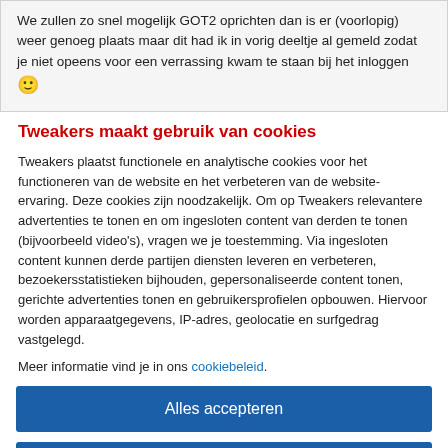We zullen zo snel mogelijk GOT2 oprichten dan is er (voorlopig) weer genoeg plaats maar dit had ik in vorig deeltje al gemeld zodat je niet opeens voor een verrassing kwam te staan bij het inloggen 🙂
Tweakers maakt gebruik van cookies
Tweakers plaatst functionele en analytische cookies voor het functioneren van de website en het verbeteren van de website-ervaring. Deze cookies zijn noodzakelijk. Om op Tweakers relevantere advertenties te tonen en om ingesloten content van derden te tonen (bijvoorbeeld video's), vragen we je toestemming. Via ingesloten content kunnen derde partijen diensten leveren en verbeteren, bezoekersstatistieken bijhouden, gepersonaliseerde content tonen, gerichte advertenties tonen en gebruikersprofielen opbouwen. Hiervoor worden apparaatgegevens, IP-adres, geolocatie en surfgedrag vastgelegd.
Meer informatie vind je in ons cookiebeleid.
Alles accepteren
Alleen noodzakelijk
Voorkeuren aanpassen